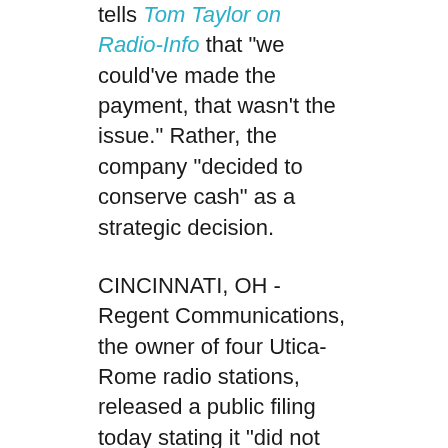tells Tom Taylor on Radio-Info that "we could've made the payment, that wasn't the issue."  Rather, the company "decided to conserve cash" as a strategic decision.
CINCINNATI, OH - Regent Communications, the owner of four Utica-Rome radio stations, released a public filing today stating it "did not make a scheduled payment of interest and principal" to its lenders on December 31.  Additionally, Regent says it skipped a $1.2 million payment related to "certain interest rate swap agreements" related to its credit agreement. Learn how to payback loan.
The details are spelled out in a Form 8-K filed today with the U.S. Securities and Exchange Commission.   In the report, Regent says "the outstanding balance under the Credit Agreement" with Bank of America stood at more than $190